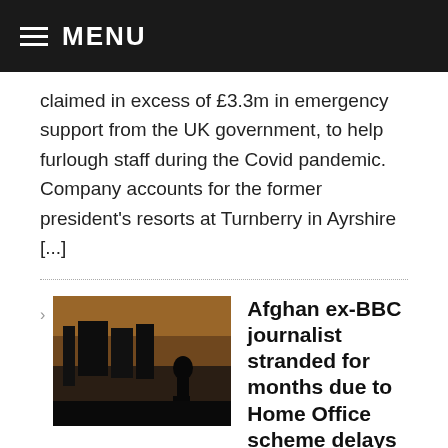MENU
claimed in excess of £3.3m in emergency support from the UK government, to help furlough staff during the Covid pandemic. Company accounts for the former president's resorts at Turnberry in Ayrshire [...]
Afghan ex-BBC journalist stranded for months due to Home Office scheme delays
Latest News, World
December 27, 2021
An Afghan former BBC journalist who managed to flee the Taliban has been stranded in a refugee camp for months because of delays to a resettlement scheme promised by the UK government. Mudassar Mukhbir has told Afghan BBC...